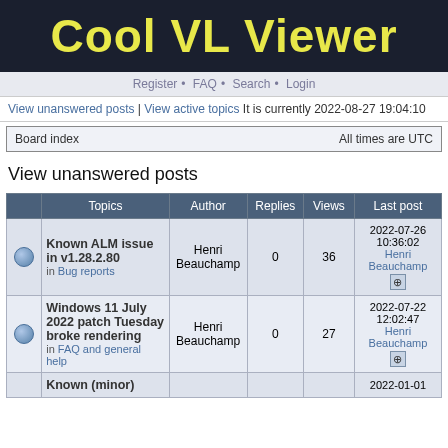Cool VL Viewer
Register • FAQ • Search • Login
View unanswered posts | View active topics It is currently 2022-08-27 19:04:10
Board index  All times are UTC
View unanswered posts
|  | Topics | Author | Replies | Views | Last post |
| --- | --- | --- | --- | --- | --- |
|  | Known ALM issue in v1.28.2.80 in Bug reports | Henri Beauchamp | 0 | 36 | 2022-07-26 10:36:02 Henri Beauchamp |
|  | Windows 11 July 2022 patch Tuesday broke rendering in FAQ and general help | Henri Beauchamp | 0 | 27 | 2022-07-22 12:02:47 Henri Beauchamp |
|  | Known (minor) |  |  |  | 2022-01-01 |